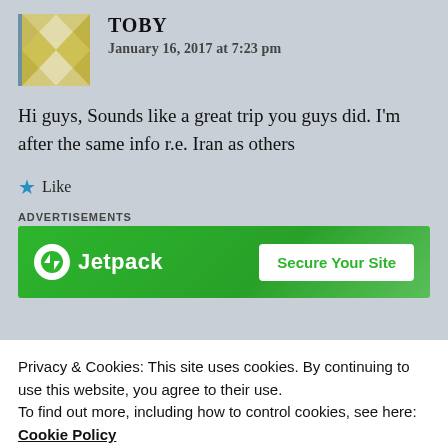TOBY
January 16, 2017 at 7:23 pm
Hi guys, Sounds like a great trip you guys did. I'm after the same info r.e. Iran as others
Like
ADVERTISEMENTS
[Figure (other): Jetpack advertisement banner with green background, Jetpack logo and 'Secure Your Site' button]
Privacy & Cookies: This site uses cookies. By continuing to use this website, you agree to their use.
To find out more, including how to control cookies, see here: Cookie Policy
Close and accept
weeks and would love to talk to you about getting a